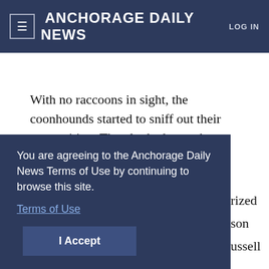≡  ANCHORAGE DAILY NEWS  LOG IN
Start your subscription for just $1.99  SUBSCRIBE
With no raccoons in sight, the coonhounds started to sniff out their competition. They looked over the Russell terriers, while also baying at each other and taking a few nips at their squeaky toy.
The Russell terrier is often referred to as a Jack
You are agreeing to the Anchorage Daily News Terms of Use by continuing to browse this site.
Terms of Use
I Accept